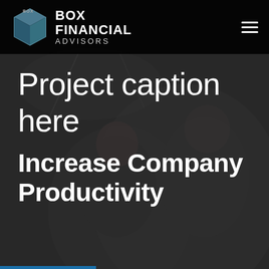[Figure (photo): Background photo of two smiling business professionals (man and woman) in a modern office setting, with a dark overlay. A box logo icon is visible in the top left area.]
BOX FINANCIAL ADVISORS
Project caption here
Increase Company Productivity